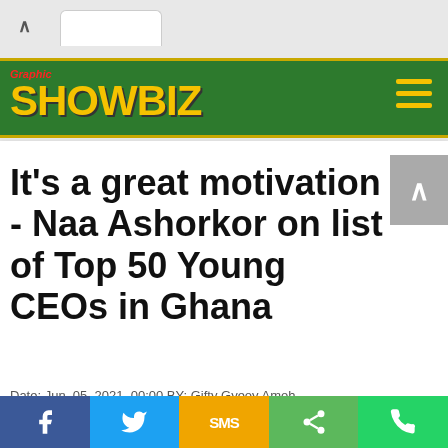Graphic SHOWBIZ
It's a great motivation - Naa Ashorkor on list of Top 50 Young CEOs in Ghana
Date: Jun. 05, 2021, 00:00 BY: Gifty Gyeoy Amoh
[Figure (screenshot): Social sharing bar with Facebook, Twitter, SMS, Share, and WhatsApp buttons]